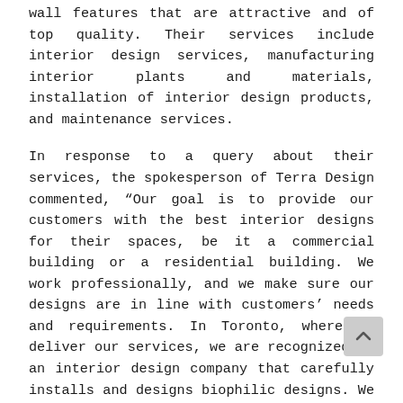wall features that are attractive and of top quality. Their services include interior design services, manufacturing interior plants and materials, installation of interior design products, and maintenance services.
In response to a query about their services, the spokesperson of Terra Design commented, “Our goal is to provide our customers with the best interior designs for their spaces, be it a commercial building or a residential building. We work professionally, and we make sure our designs are in line with customers’ needs and requirements. In Toronto, where we deliver our services, we are recognized as an interior design company that carefully installs and designs biophilic designs. We have a strong drive for excellence, and we want to help as many people live happier and healthier through our unique and highly productive services.”
Through its biophilic designs, Terra Design focuses on reconnecting customers and clients with nature. Their